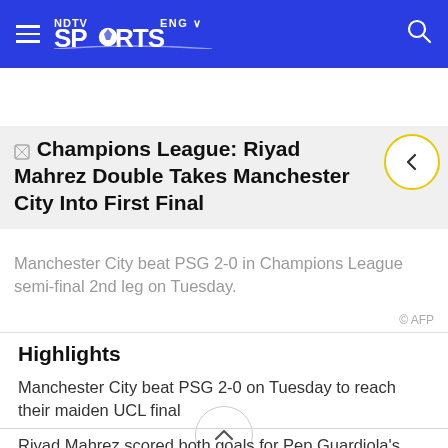NDTV SPORTS ENG
[Figure (screenshot): Social media sharing icons: Facebook, Twitter, WhatsApp, Reddit, Snapchat, and another icon; plus email and chat icons on the right]
Champions League: Riyad Mahrez Double Takes Manchester City Into First Final
Manchester City beat PSG 2-0 in Champions League semi-final 2nd leg on Tuesday.
© AFP
Highlights
Manchester City beat PSG 2-0 on Tuesday to reach their maiden UCL final
Riyad Mahrez scored both goals for Pep Guardiola's side
Man City will face either Real Madrid or Chelsea in